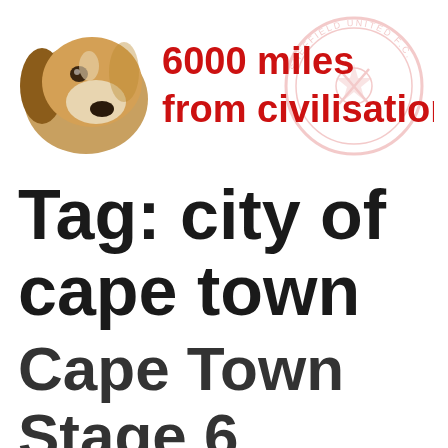[Figure (illustration): Blog header banner with a beagle dog photo on the left, bold red text '6000 miles from civilisation...' in the center-right, and a faded Sheffield United FC circular crest watermark on the right.]
Tag: city of cape town
Cape Town Stage 6 Loadshedding